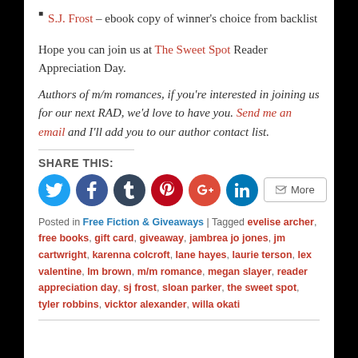S.J. Frost – ebook copy of winner's choice from backlist
Hope you can join us at The Sweet Spot Reader Appreciation Day.
Authors of m/m romances, if you're interested in joining us for our next RAD, we'd love to have you. Send me an email and I'll add you to our author contact list.
SHARE THIS:
[Figure (infographic): Row of social media share buttons: Twitter (blue), Facebook (dark blue), Tumblr (dark slate), Pinterest (red), Google+ (orange-red), LinkedIn (blue), and a More button]
Posted in Free Fiction & Giveaways | Tagged evelise archer, free books, gift card, giveaway, jambrea jo jones, jm cartwright, karenna colcroft, lane hayes, laurie terson, lex valentine, lm brown, m/m romance, megan slayer, reader appreciation day, sj frost, sloan parker, the sweet spot, tyler robbins, vicktor alexander, willa okati